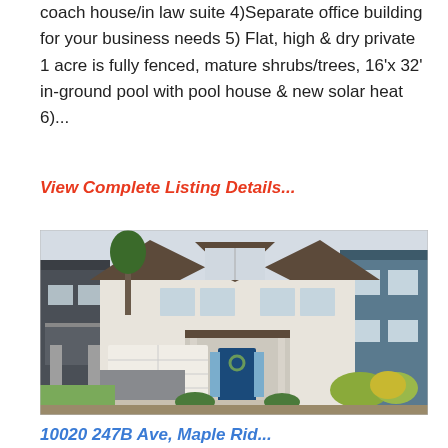coach house/in law suite 4)Separate office building for your business needs 5) Flat, high & dry private 1 acre is fully fenced, mature shrubs/trees, 16'x 32' in-ground pool with pool house & new solar heat 6)...
View Complete Listing Details...
[Figure (photo): Exterior photo of a modern two-storey house with gray/white siding, dark roof, white garage door, blue front door, and landscaping in a residential neighbourhood]
10020 247B Ave, Maple Rid...